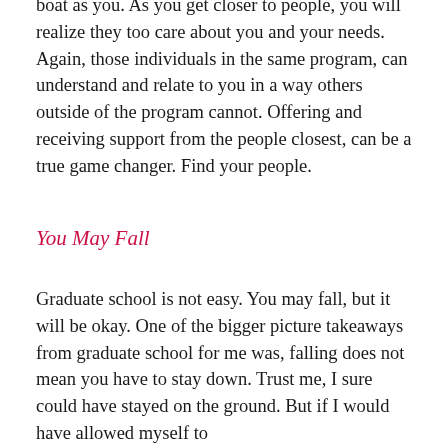boat as you. As you get closer to people, you will realize they too care about you and your needs. Again, those individuals in the same program, can understand and relate to you in a way others outside of the program cannot. Offering and receiving support from the people closest, can be a true game changer. Find your people.
You May Fall
Graduate school is not easy. You may fall, but it will be okay. One of the bigger picture takeaways from graduate school for me was, falling does not mean you have to stay down. Trust me, I sure could have stayed on the ground. But if I would have allowed myself to